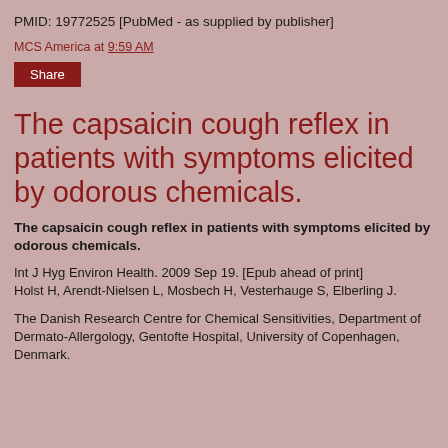PMID: 19772525 [PubMed - as supplied by publisher]
MCS America at 9:59 AM
Share
The capsaicin cough reflex in patients with symptoms elicited by odorous chemicals.
The capsaicin cough reflex in patients with symptoms elicited by odorous chemicals.
Int J Hyg Environ Health. 2009 Sep 19. [Epub ahead of print] Holst H, Arendt-Nielsen L, Mosbech H, Vesterhauge S, Elberling J.
The Danish Research Centre for Chemical Sensitivities, Department of Dermato-Allergology, Gentofte Hospital, University of Copenhagen, Denmark.